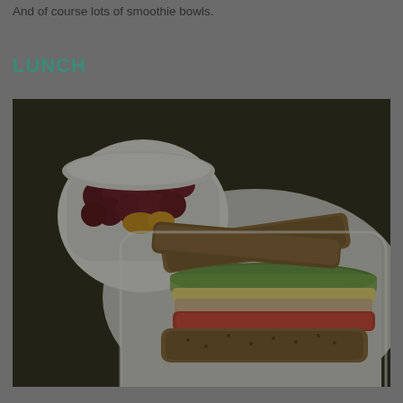And of course lots of smoothie bowls.
LUNCH
[Figure (photo): Overhead photo of a sandwich cut in half on a white plate with a bowl of red grapes and fruit pieces, set on a wooden surface. The sandwich appears to be on multigrain bread with tomato, lettuce, cheese and deli meat. The image has a dark overlay.]